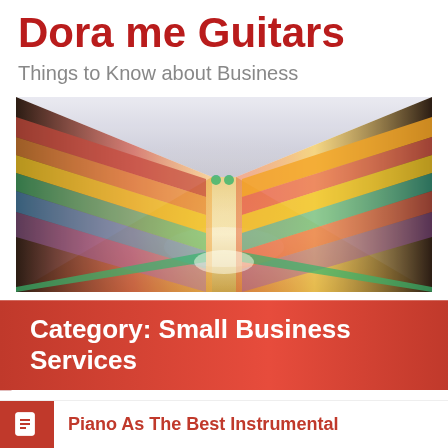Dora me Guitars
Things to Know about Business
[Figure (photo): Blurred supermarket aisle with shelves of colorful products on both sides converging to a vanishing point, green floor trim visible.]
Category: Small Business Services
Small+Business+Services
Piano As The Best Instrumental